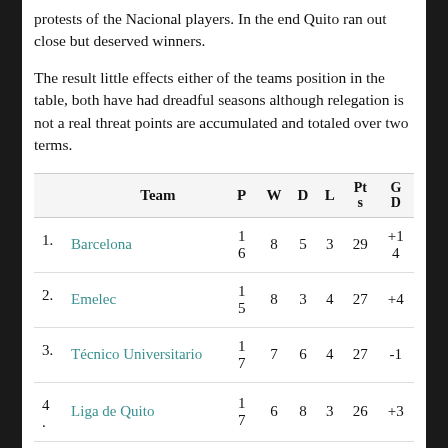protests of the Nacional players. In the end Quito ran out close but deserved winners.
The result little effects either of the teams position in the table, both have had dreadful seasons although relegation is not a real threat points are accumulated and totaled over two terms.
|  | Team | P | W | D | L | Pts | GD |
| --- | --- | --- | --- | --- | --- | --- | --- |
| 1. | Barcelona | 16 | 8 | 5 | 3 | 29 | +14 |
| 2. | Emelec | 15 | 8 | 3 | 4 | 27 | +4 |
| 3. | Técnico Universitario | 17 | 7 | 6 | 4 | 27 | -1 |
| 4. | Liga de Quito | 17 | 6 | 8 | 3 | 26 | +3 |